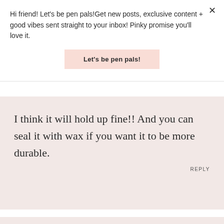Hi friend! Let's be pen pals!Get new posts, exclusive content + good vibes sent straight to your inbox! Pinky promise you'll love it.
Let's be pen pals!
I think it will hold up fine!! And you can seal it with wax if you want it to be more durable.
REPLY
SARAH SAID:
1.25.18
I really don't think it will chip over